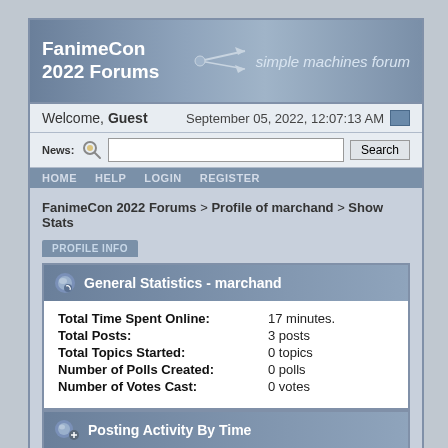FanimeCon 2022 Forums — simple machines forum
Welcome, Guest   September 05, 2022, 12:07:13 AM
News:
HOME  HELP  LOGIN  REGISTER
FanimeCon 2022 Forums > Profile of marchand > Show Stats
PROFILE INFO
General Statistics - marchand
| Field | Value |
| --- | --- |
| Total Time Spent Online: | 17 minutes. |
| Total Posts: | 3 posts |
| Total Topics Started: | 0 topics |
| Number of Polls Created: | 0 polls |
| Number of Votes Cast: | 0 votes |
Posting Activity By Time